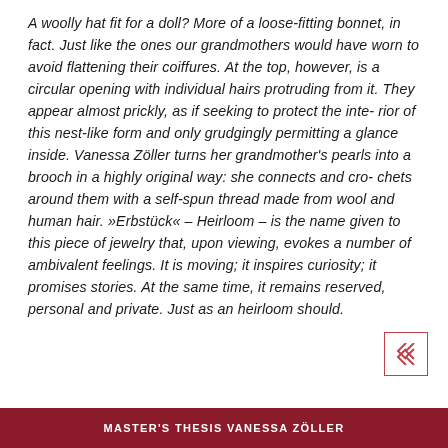A woolly hat fit for a doll? More of a loose-fitting bonnet, in fact. Just like the ones our grandmothers would have worn to avoid flattening their coiffures. At the top, however, is a circular opening with individual hairs protruding from it. They appear almost prickly, as if seeking to protect the inte- rior of this nest-like form and only grudgingly permitting a glance inside. Vanessa Zöller turns her grandmother's pearls into a brooch in a highly original way: she connects and cro- chets around them with a self-spun thread made from wool and human hair. »Erbstück« – Heirloom – is the name given to this piece of jewelry that, upon viewing, evokes a number of ambivalent feelings. It is moving; it inspires curiosity; it promises stories. At the same time, it remains reserved, personal and private. Just as an heirloom should.
MASTER'S THESIS VANESSA ZÖLLER